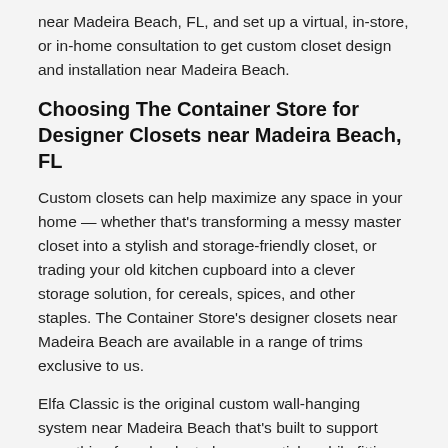near Madeira Beach, FL, and set up a virtual, in-store, or in-home consultation to get custom closet design and installation near Madeira Beach.
Choosing The Container Store for Designer Closets near Madeira Beach, FL
Custom closets can help maximize any space in your home — whether that's transforming a messy master closet into a stylish and storage-friendly closet, or trading your old kitchen cupboard into a clever storage solution, for cereals, spices, and other staples. The Container Store's designer closets near Madeira Beach are available in a range of trims exclusive to us.
Elfa Classic is the original custom wall-hanging system near Madeira Beach that's built to support everything from books to lacrosse sticks while fitting seamlessly into your home and budget. Elfa Décor takes a refined spin on the original with a potpourri of wood or deluxe options and shades from white to walnut. Avera is a breakthrough in custom closet systems available near Madeira Beach that provides a built-in feel complete with LED lighting and soft-close drawers with an